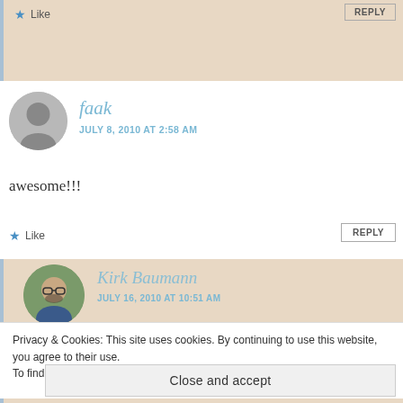[Figure (other): Top beige comment block, partially cropped, with Like and REPLY button]
Like
REPLY
[Figure (other): Gray circular avatar placeholder for user faak]
faak
JULY 8, 2010 AT 2:58 AM
awesome!!!
Like
REPLY
[Figure (photo): Circular photo avatar of Kirk Baumann, a bald man with beard and glasses, smiling outdoors]
Kirk Baumann
JULY 16, 2010 AT 10:51 AM
Privacy & Cookies: This site uses cookies. By continuing to use this website, you agree to their use.
To find out more, including how to control cookies, see here: Cookie Policy
Close and accept